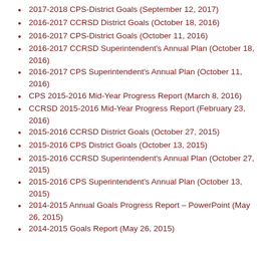2017-2018 CPS-District Goals (September 12, 2017)
2016-2017 CCRSD District Goals (October 18, 2016)
2016-2017 CPS-District Goals (October 11, 2016)
2016-2017 CCRSD Superintendent's Annual Plan (October 18, 2016)
2016-2017 CPS Superintendent's Annual Plan (October 11, 2016)
CPS 2015-2016 Mid-Year Progress Report (March 8, 2016)
CCRSD 2015-2016 Mid-Year Progress Report (February 23, 2016)
2015-2016 CCRSD District Goals (October 27, 2015)
2015-2016 CPS District Goals (October 13, 2015)
2015-2016 CCRSD Superintendent's Annual Plan (October 27, 2015)
2015-2016 CPS Superintendent's Annual Plan (October 13, 2015)
2014-2015 Annual Goals Progress Report – PowerPoint (May 26, 2015)
2014-2015 Goals Report (May 26, 2015)